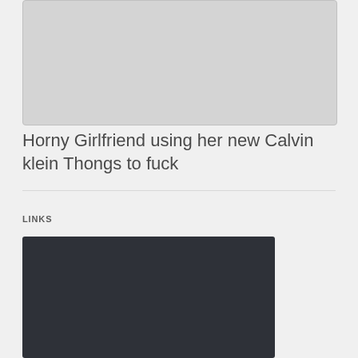[Figure (photo): Light gray image placeholder area at top of page]
Horny Girlfriend using her new Calvin klein Thongs to fuck
LINKS
[Figure (photo): Dark gray/charcoal image placeholder in links section]